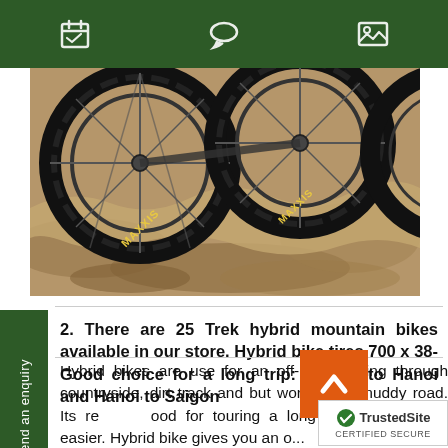Navigation bar with icons
[Figure (photo): Close-up photo of mountain bike tires/wheels on muddy rocky terrain, with Maxxis branded tires visible]
2. There are 25 Trek hybrid mountain bikes available in our store. Hybrid bike tires 700 x 38- Good choice for a long trip: Saigon to Hanoi and Hanoi to Saigon
Hybrid bikes are use for an off-road cycling through countryside, dirt track and but working on muddy road. Its re... ood for touring a long trip, it moves... easier. Hybrid bike gives you an o...